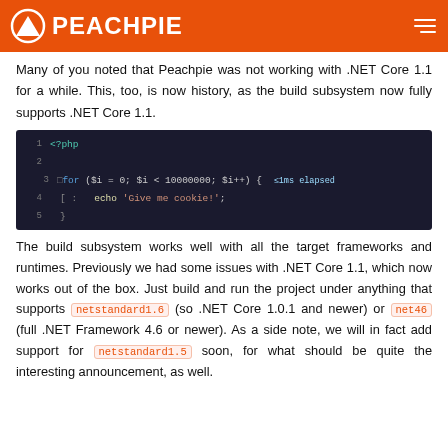PEACHPIE
Many of you noted that Peachpie was not working with .NET Core 1.1 for a while. This, too, is now history, as the build subsystem now fully supports .NET Core 1.1.
[Figure (screenshot): PHP code snippet in a dark IDE showing a for loop iterating 10000000 times with echo 'Give me cookie!'; with a tooltip showing ≤1ms elapsed]
The build subsystem works well with all the target frameworks and runtimes. Previously we had some issues with .NET Core 1.1, which now works out of the box. Just build and run the project under anything that supports netstandard1.6 (so .NET Core 1.0.1 and newer) or net46 (full .NET Framework 4.6 or newer). As a side note, we will in fact add support for netstandard1.5 soon, for what should be quite the interesting announcement, as well.